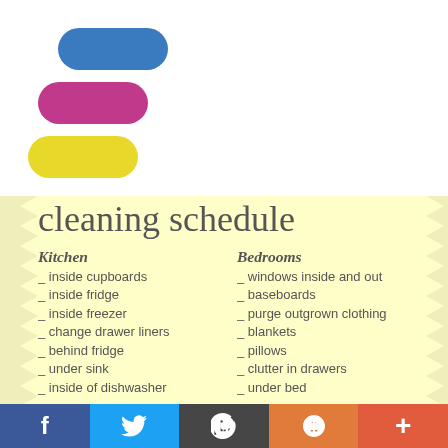[Figure (logo): Three pill/capsule shapes stacked: blue on top-right offset, magenta/pink in middle, yellow at bottom-left — forming a logo mark]
cleaning schedule
Kitchen
_ inside cupboards
_ inside fridge
_ inside freezer
_ change drawer liners
_ behind fridge
_ under sink
_ inside of dishwasher
Bedrooms
_ windows inside and out
_ baseboards
_ purge outgrown clothing
_ blankets
_ pillows
_ clutter in drawers
_ under bed
Social share bar: Facebook, Twitter, WordPress, Blogger, Plus